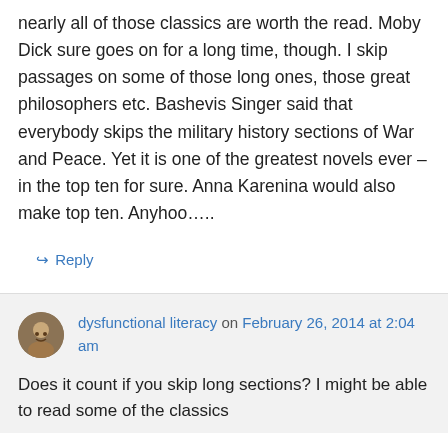nearly all of those classics are worth the read. Moby Dick sure goes on for a long time, though. I skip passages on some of those long ones, those great philosophers etc. Bashevis Singer said that everybody skips the military history sections of War and Peace. Yet it is one of the greatest novels ever – in the top ten for sure. Anna Karenina would also make top ten. Anyhoo…..
↳ Reply
dysfunctional literacy on February 26, 2014 at 2:04 am
Does it count if you skip long sections? I might be able to read some of the classics